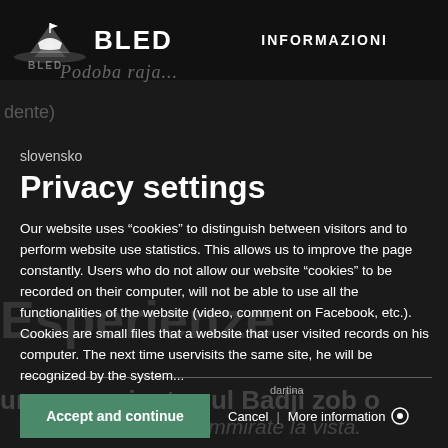BLED | INFORMAZIONI
dente)
slovensko
Privacy settings
Our website uses “cookies” to distinguish between visitors and to perform website use statistics. This allows us to improve the page constantly. Users who do not allow our website “cookies” to be recorded on their computer, will not be able to use all the functionalities of the website (video, comment on Facebook, etc.).
Cookies are small files that a website that user visited records on his computer. The next time uservisits the same site, he will be recognized by the system...
Accept and continue | Cancel | More information